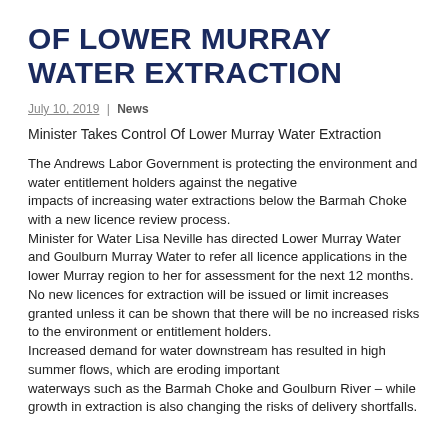OF LOWER MURRAY WATER EXTRACTION
July 10, 2019 | News
Minister Takes Control Of Lower Murray Water Extraction
The Andrews Labor Government is protecting the environment and water entitlement holders against the negative impacts of increasing water extractions below the Barmah Choke with a new licence review process. Minister for Water Lisa Neville has directed Lower Murray Water and Goulburn Murray Water to refer all licence applications in the lower Murray region to her for assessment for the next 12 months. No new licences for extraction will be issued or limit increases granted unless it can be shown that there will be no increased risks to the environment or entitlement holders. Increased demand for water downstream has resulted in high summer flows, which are eroding important waterways such as the Barmah Choke and Goulburn River – while growth in extraction is also changing the risks of delivery shortfalls.